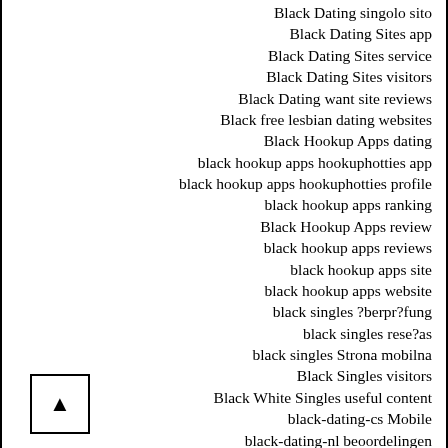Black Dating singolo sito
Black Dating Sites app
Black Dating Sites service
Black Dating Sites visitors
Black Dating want site reviews
Black free lesbian dating websites
Black Hookup Apps dating
black hookup apps hookuphotties app
black hookup apps hookuphotties profile
black hookup apps ranking
Black Hookup Apps review
black hookup apps reviews
black hookup apps site
black hookup apps website
black singles ?berpr?fung
black singles rese?as
black singles Strona mobilna
Black Singles visitors
Black White Singles useful content
black-dating-cs Mobile
black-dating-nl beoordelingen
black-dating-nl BRAND1-app
BlackandWhiteSingles useful content
blackchristianpeoplemeet Commentaires
blackchristianpeoplemeet cs reviews
blackchristianpeoplemeet es review
blackchristianpeoplemeet cons?r